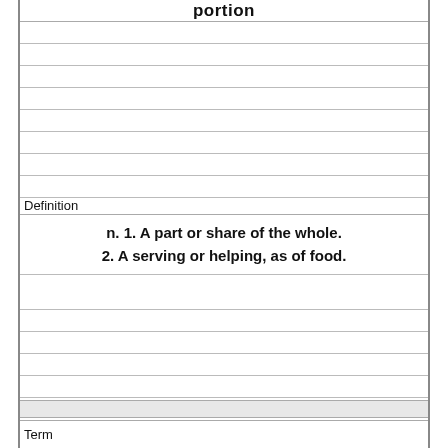portion
Definition
n. 1. A part or share of the whole. 2. A serving or helping, as of food.
Term